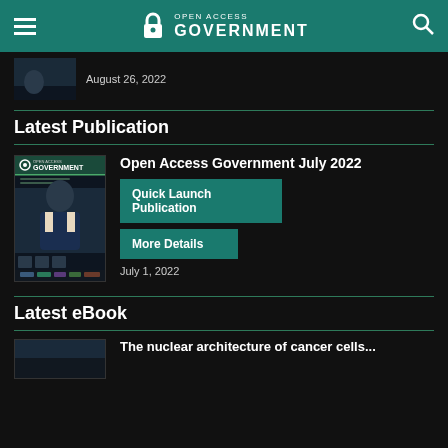Open Access Government
August 26, 2022
Latest Publication
[Figure (illustration): Cover of Open Access Government July 2022 magazine showing a man in suit]
Open Access Government July 2022
Quick Launch Publication
More Details
July 1, 2022
Latest eBook
The nuclear architecture of cancer cells...